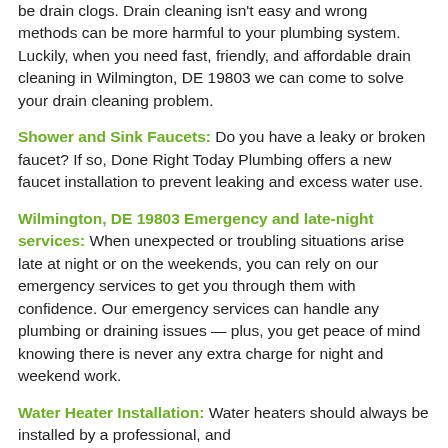be drain clogs. Drain cleaning isn't easy and wrong methods can be more harmful to your plumbing system. Luckily, when you need fast, friendly, and affordable drain cleaning in Wilmington, DE 19803 we can come to solve your drain cleaning problem.
Shower and Sink Faucets: Do you have a leaky or broken faucet? If so, Done Right Today Plumbing offers a new faucet installation to prevent leaking and excess water use.
Wilmington, DE 19803 Emergency and late-night services: When unexpected or troubling situations arise late at night or on the weekends, you can rely on our emergency services to get you through them with confidence. Our emergency services can handle any plumbing or draining issues — plus, you get peace of mind knowing there is never any extra charge for night and weekend work.
Water Heater Installation: Water heaters should always be installed by a professional, and